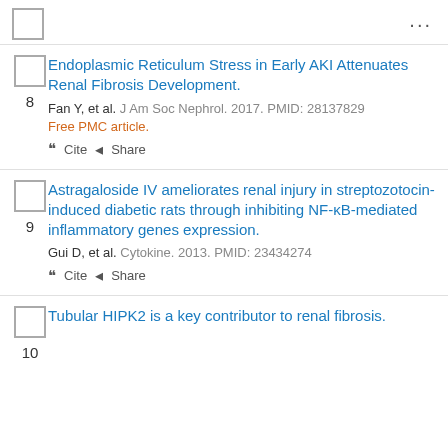8 Endoplasmic Reticulum Stress in Early AKI Attenuates Renal Fibrosis Development. Fan Y, et al. J Am Soc Nephrol. 2017. PMID: 28137829 Free PMC article. Cite Share
9 Astragaloside IV ameliorates renal injury in streptozotocin-induced diabetic rats through inhibiting NF-κB-mediated inflammatory genes expression. Gui D, et al. Cytokine. 2013. PMID: 23434274 Cite Share
10 Tubular HIPK2 is a key contributor to renal fibrosis.